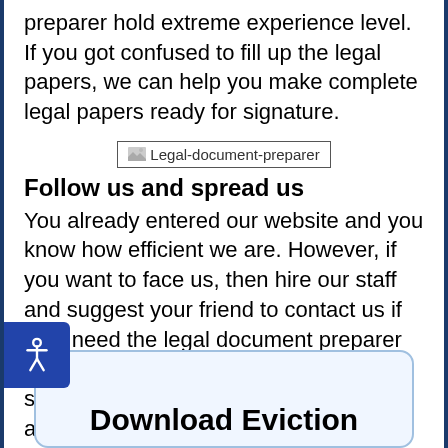preparer hold extreme experience level. If you got confused to fill up the legal papers, we can help you make complete legal papers ready for signature.
[Figure (illustration): Broken image placeholder labeled 'Legal-document-preparer']
Follow us and spread us
You already entered our website and you know how efficient we are. However, if you want to face us, then hire our staff and suggest your friend to contact us if they need the legal document preparer in Sacramento. To learn more, visit our service page and read other blogs and articles.
Download Eviction